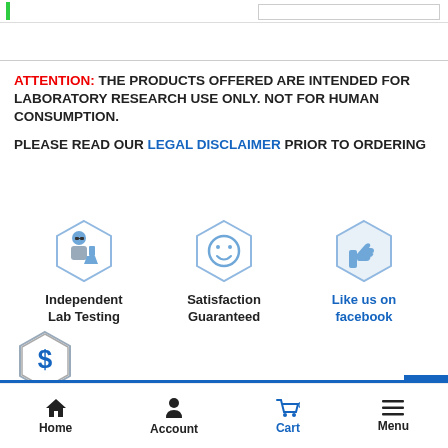ATTENTION: THE PRODUCTS OFFERED ARE INTENDED FOR LABORATORY RESEARCH USE ONLY. NOT FOR HUMAN CONSUMPTION.
PLEASE READ OUR LEGAL DISCLAIMER PRIOR TO ORDERING
[Figure (illustration): Hexagon icon with scientist and lab flask - Independent Lab Testing]
Independent Lab Testing
[Figure (illustration): Hexagon icon with smiley face - Satisfaction Guaranteed]
Satisfaction Guaranteed
[Figure (illustration): Hexagon icon with thumbs up - Like us on facebook]
Like us on facebook
[Figure (illustration): Hexagon icon with dollar sign]
Description
Additional information
Home  Account  Cart 0  Menu